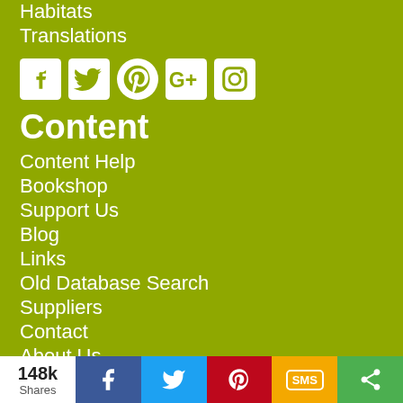Habitats
Translations
[Figure (infographic): Social media icons: Facebook, Twitter, Pinterest, Google+, Instagram]
Content
Content Help
Bookshop
Support Us
Blog
Links
Old Database Search
Suppliers
Contact
About Us
148k Shares | Facebook | Twitter | Pinterest | SMS | Share